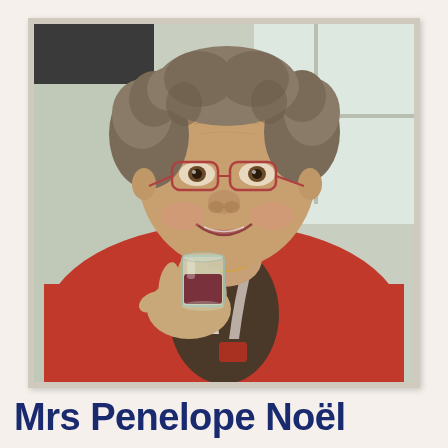[Figure (photo): An elderly woman with curly grey-brown hair, wearing glasses and a red jacket over a dark top, smiling and holding a glass of red wine toward the camera. Background appears to be an indoor setting with a white window frame.]
Mrs Penelope Noël